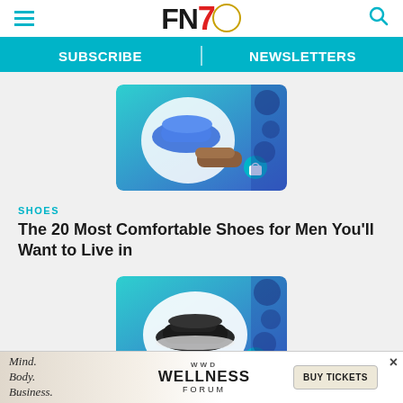FN — Footwear News site header with hamburger menu, FN7 logo, and search icon
SUBSCRIBE | NEWSLETTERS
[Figure (illustration): Product thumbnail showing blue sneaker and brown shoe on teal/blue gradient background with shopping bag icon]
SHOES
The 20 Most Comfortable Shoes for Men You'll Want to Live in
[Figure (illustration): Product thumbnail showing black running sneaker on teal/white oval background with shopping bag icon]
WOMEN'S
The 20 Best Walking Shoes for Women in 2022
[Figure (advertisement): WWD Wellness Forum ad banner — Mind. Body. Business. | WELLNESS FORUM | BUY TICKETS]